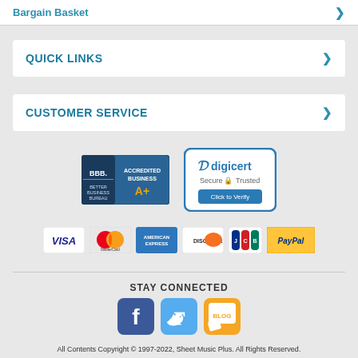Bargain Basket
QUICK LINKS
CUSTOMER SERVICE
[Figure (logo): BBB Accredited Business badge and DigiCert Secure Trusted badge]
[Figure (logo): Payment method logos: VISA, MasterCard, American Express, Discover, JCB, PayPal]
STAY CONNECTED
[Figure (logo): Social media icons: Facebook, Twitter, Blog]
All Contents Copyright © 1997-2022, Sheet Music Plus. All Rights Reserved.